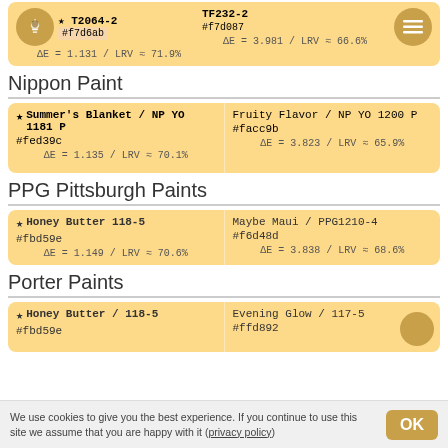★ T2064-2 / #f7d6ab | TF232-2 / #f7d087 | ΔE = 1.131 / LRV ≈ 71.9% | ΔE = 3.981 / LRV ≈ 66.6%
Nippon Paint
★ Summer's Blanket / NP YO 1181 P #fed39c ΔE = 1.135 / LRV ≈ 70.1% | Fruity Flavor / NP YO 1200 P #facc9b ΔE = 3.823 / LRV ≈ 65.9%
PPG Pittsburgh Paints
★ Honey Butter 118-5 #fbd59e ΔE = 1.149 / LRV ≈ 70.6% | Maybe Maui / PPG1210-4 #f6d48d ΔE = 3.838 / LRV ≈ 68.6%
Porter Paints
★ Honey Butter / 118-5 #fbd59e | Evening Glow / 117-5 #ffd892
We use cookies to give you the best experience. If you continue to use this site we assume that you are happy with it (privacy policy)